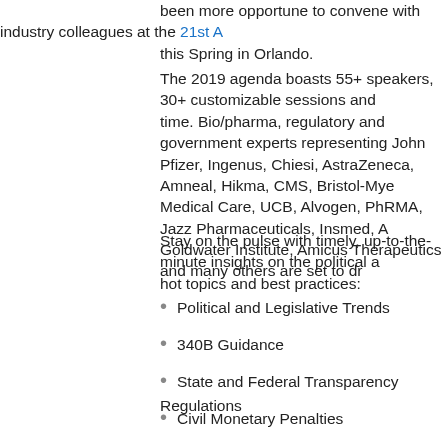been more opportune to convene with industry colleagues at the 21st A... this Spring in Orlando.
The 2019 agenda boasts 55+ speakers, 30+ customizable sessions and... time. Bio/pharma, regulatory and government experts representing Joh... Pfizer, Ingenus, Chiesi, AstraZeneca, Amneal, Hikma, CMS, Bristol-Mye... Medical Care, UCB, Alvogen, PhRMA, Jazz Pharmaceuticals, Insmed, A... Goldwater Institute, Amicus Therapeutics and many others are set to dr...
Stay on the pulse with timely, up-to-the-minute insights on the political a... hot topics and best practices:
Political and Legislative Trends
340B Guidance
State and Federal Transparency Regulations
Civil Monetary Penalties
Value-Based Frameworks
State Invoicing and Disputes
Contracting with PBMs
Changes to Medicare
Bona Fide Service Fees
GTN and Accruals
And many other critical topics. Download the complete agenda.
Drug Channels Readers – Register today with promo code MDCDC5
*Discount offer valid through 4/5/2019; applies to standard rates only o...